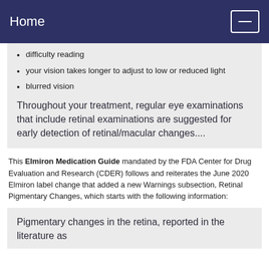Home
difficulty reading
your vision takes longer to adjust to low or reduced light
blurred vision
Throughout your treatment, regular eye examinations that include retinal examinations are suggested for early detection of retinal/macular changes....
This Elmiron Medication Guide mandated by the FDA Center for Drug Evaluation and Research (CDER) follows and reiterates the June 2020 Elmiron label change that added a new Warnings subsection, Retinal Pigmentary Changes, which starts with the following information:
Pigmentary changes in the retina, reported in the literature as